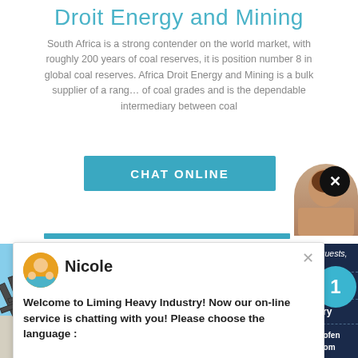Droit Energy and Mining
South Africa is a strong contender on the world market, with roughly 200 years of coal reserves, it is position number 8 in global coal reserves. Africa Droit Energy and Mining is a bulk supplier of a rang… of coal grades and is the dependable intermediary between coal
[Figure (screenshot): Chat Online button (teal/blue rectangle)]
[Figure (screenshot): Chat popup with avatar of Nicole, text: Welcome to Liming Heavy Industry! Now our on-line service is chatting with you! Please choose the language :]
[Figure (photo): Industrial mining facility with conveyor structures against blue sky, with dark navy side panel showing Have any requests click here, Quote button, notification circle with number 1, Enquiry, limingjlmofen@sina.com]